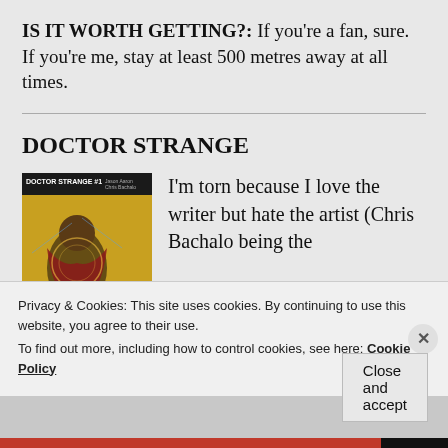IS IT WORTH GETTING?: If you're a fan, sure. If you're me, stay at least 500 metres away at all times.
DOCTOR STRANGE
[Figure (illustration): Doctor Strange #1 comic book cover showing a stylized illustration with red and yellow hues, characters in action poses, with title 'DOCTOR STRANGE #1' at top]
I'm torn because I love the writer but hate the artist (Chris Bachalo being the
Privacy & Cookies: This site uses cookies. By continuing to use this website, you agree to their use.
To find out more, including how to control cookies, see here: Cookie Policy
Close and accept